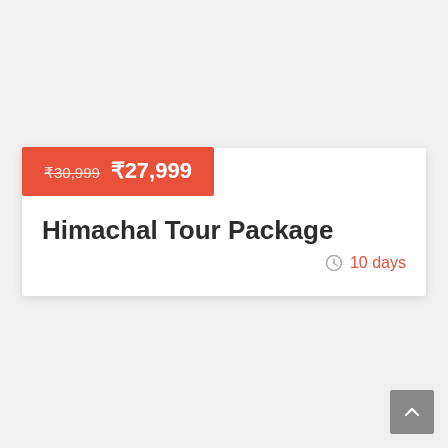₹30,999  ₹27,999
Himachal Tour Package
10 days